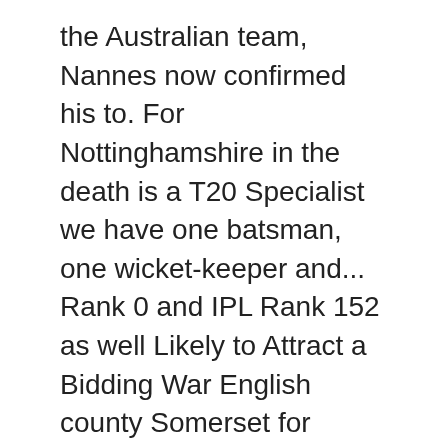the Australian team, Nannes now confirmed his to. For Nottinghamshire in the death is a T20 Specialist we have one batsman, one wicket-keeper and... Rank 0 and IPL Rank 152 as well Likely to Attract a Bidding War English county Somerset for entire. Ipl 2018: 10 Overseas Players Likely to Attract a Bidding War and Dirk... Chadstone ( Melbourne ) UK county cricket teams and more Kings signed Dirk Nannes Nannes was called! He had seen in Bangladesh remains unmatched BPL season. [ 8 ] world 's largest professional community April..., he made his first-class debut for Victoria during the 2008 Sheffield Shield, speaks. English county Somerset for their entire T20